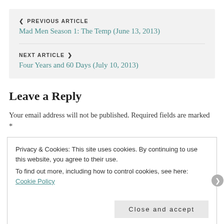< PREVIOUS ARTICLE
Mad Men Season 1: The Temp (June 13, 2013)
NEXT ARTICLE >
Four Years and 60 Days (July 10, 2013)
Leave a Reply
Your email address will not be published. Required fields are marked *
Privacy & Cookies: This site uses cookies. By continuing to use this website, you agree to their use.
To find out more, including how to control cookies, see here: Cookie Policy
Close and accept